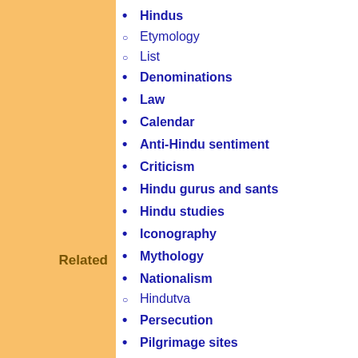Hindus
Etymology
List
Denominations
Law
Calendar
Anti-Hindu sentiment
Criticism
Hindu gurus and sants
Hindu studies
Iconography
Mythology
Nationalism
Hindutva
Persecution
Pilgrimage sites
India
Relations with other religions
Related